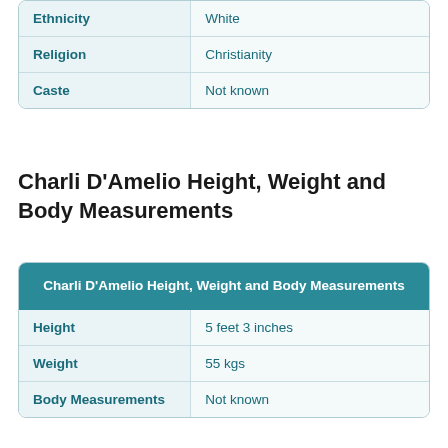|  |  |
| --- | --- |
| Ethnicity | White |
| Religion | Christianity |
| Caste | Not known |
Charli D'Amelio Height, Weight and Body Measurements
| Charli D'Amelio Height, Weight and Body Measurements |  |
| --- | --- |
| Height | 5 feet 3 inches |
| Weight | 55 kgs |
| Body Measurements | Not known |